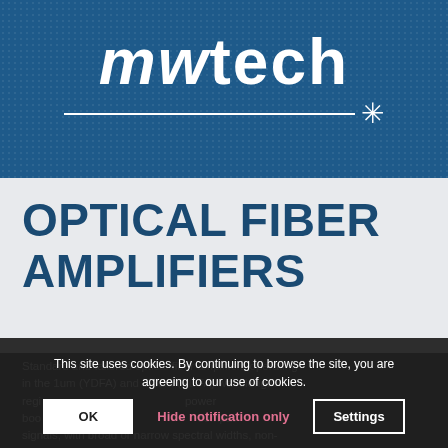[Figure (logo): mwtech company logo in white text on blue dotted background, with horizontal underline and asterisk/star symbol]
OPTICAL FIBER AMPLIFIERS
Standard and tailored optical fiber amplifiers operating in the 1um (YDFA) and 1.5um (EDFA) wavelength regions. power boo signals, with broad or narrow spectral widths, non-
This site uses cookies. By continuing to browse the site, you are agreeing to our use of cookies.